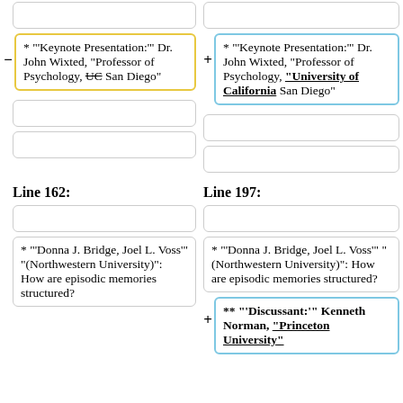* "'Keynote Presentation:'" Dr. John Wixted, "Professor of Psychology, UC San Diego"
* "'Keynote Presentation:'" Dr. John Wixted, "Professor of Psychology, "University of California" San Diego"
Line 162:
Line 197:
* "'Donna J. Bridge, Joel L. Voss'" "(Northwestern University)": How are episodic memories structured?
* "'Donna J. Bridge, Joel L. Voss'" "(Northwestern University)": How are episodic memories structured?
** "'Discussant:'" Kenneth Norman, "Princeton University"